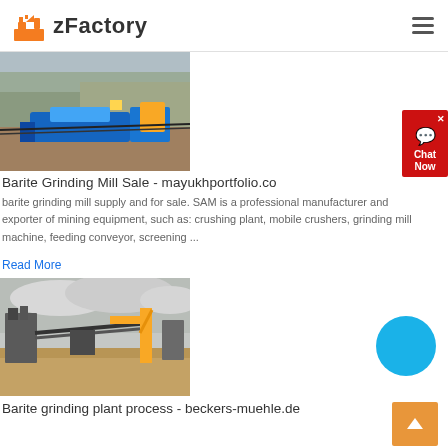zFactory
[Figure (photo): Mining crushing plant with blue machinery in an open-pit quarry]
Barite Grinding Mill Sale - mayukhportfolio.co
barite grinding mill supply and for sale. SAM is a professional manufacturer and exporter of mining equipment, such as: crushing plant, mobile crushers, grinding mill machine, feeding conveyor, screening ...
Read More
[Figure (photo): Barite grinding plant industrial facility with conveyors and silos under cloudy sky]
Barite grinding plant process - beckers-muehle.de